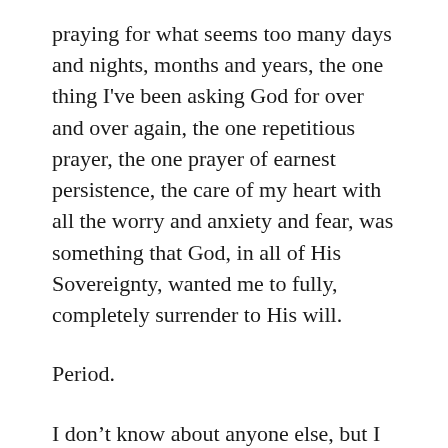praying for what seems too many days and nights, months and years, the one thing I've been asking God for over and over again, the one repetitious prayer, the one prayer of earnest persistence, the care of my heart with all the worry and anxiety and fear, was something that God, in all of His Sovereignty, wanted me to fully, completely surrender to His will.
Period.
I don't know about anyone else, but I think there comes a time when God says,
My Child, will you trust me? Will you let me have